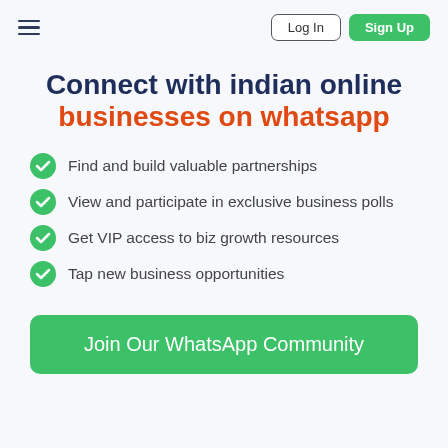≡  Log In  Sign Up
Connect with indian online businesses on whatsapp
Find and build valuable partnerships
View and participate in exclusive business polls
Get VIP access to biz growth resources
Tap new business opportunities
Join Our WhatsApp Community